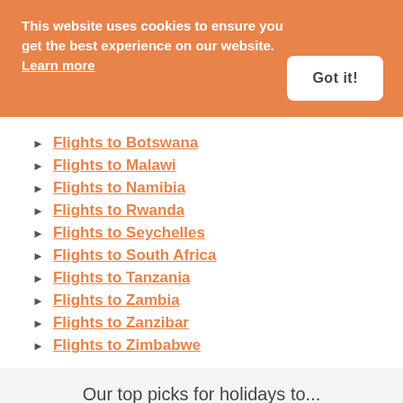This website uses cookies to ensure you get the best experience on our website. Learn more
Got it!
Flights to Botswana
Flights to Malawi
Flights to Namibia
Flights to Rwanda
Flights to Seychelles
Flights to South Africa
Flights to Tanzania
Flights to Zambia
Flights to Zanzibar
Flights to Zimbabwe
Our top picks for holidays to...